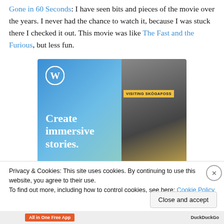Gone in 60 Seconds: I have seen bits and pieces of the movie over the years. I never had the chance to watch it, because I was stuck there I checked it out. This movie was like The Fast and the Furious, but less fun.
[Figure (other): WordPress advertisement: Blue gradient background with WordPress logo (W in circle), large white text reading 'Create immersive stories.' and a phone mockup on the right showing a waterfall photo labeled 'VISITING SKÓGAFOSS']
Privacy & Cookies: This site uses cookies. By continuing to use this website, you agree to their use.
To find out more, including how to control cookies, see here: Cookie Policy
Close and accept